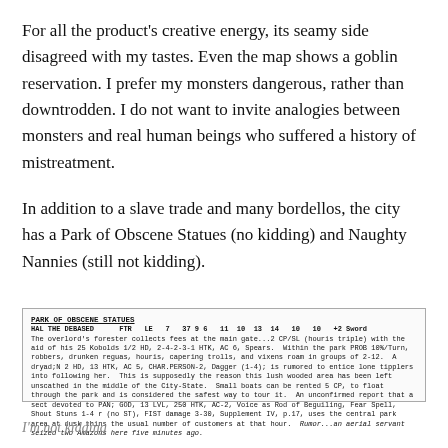For all the product's creative energy, its seamy side disagreed with my tastes. Even the map shows a goblin reservation. I prefer my monsters dangerous, rather than downtrodden. I do not want to invite analogies between monsters and real human beings who suffered a history of mistreatment.
In addition to a slave trade and many bordellos, the city has a Park of Obscene Statues (no kidding) and Naughty Nannies (still not kidding).
[Figure (other): A boxed game supplement entry for 'PARK OF OBSCENE STATUES' with stat block for 'HAL THE DEBASED' and descriptive game text including references to kobolds, dryads, houris, and a sect devoted to PAN.]
I'm not kidding